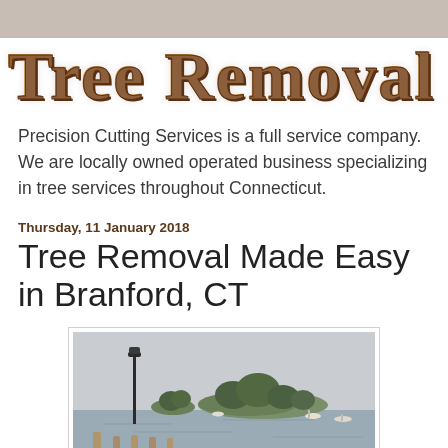Tree Removal in CT
Precision Cutting Services is a full service company. We are locally owned operated business specializing in tree services throughout Connecticut.
Thursday, 11 January 2018
Tree Removal Made Easy in Branford, CT
[Figure (photo): Harbor scene showing a small wooded island surrounded by water, with a lamp post and wooden dock posts in the foreground. Several boats visible on the water under an overcast sky.]